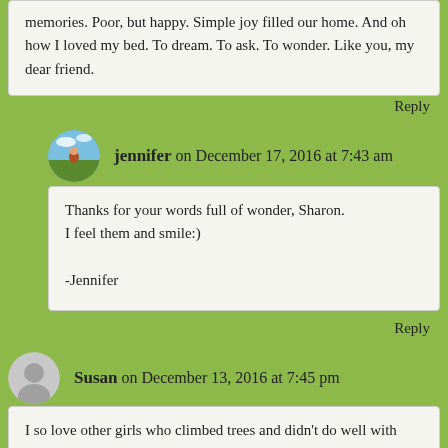memories. Poor, but happy. Simple joy filled our home. And oh how I loved my bed. To dream. To ask. To wonder. Like you, my dear friend.
Reply
jennifer on December 17, 2016 at 7:43 am
Thanks for your words full of wonder, Sharon.
I feel them and smile:)
-Jennifer
Reply
Susan on December 13, 2016 at 7:45 pm
I so love other girls who climbed trees and didn’t do well with rules ... we would have been great young pals.